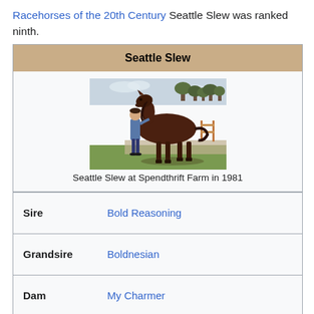Racehorses of the 20th Century Seattle Slew was ranked ninth.
| Seattle Slew |
| --- |
| [photo] Seattle Slew at Spendthrift Farm in 1981 |
| Sire | Bold Reasoning |
| Grandsire | Boldnesian |
| Dam | My Charmer |